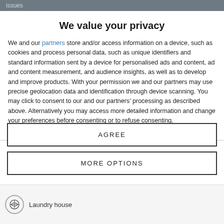issues
We value your privacy
We and our partners store and/or access information on a device, such as cookies and process personal data, such as unique identifiers and standard information sent by a device for personalised ads and content, ad and content measurement, and audience insights, as well as to develop and improve products. With your permission we and our partners may use precise geolocation data and identification through device scanning. You may click to consent to our and our partners' processing as described above. Alternatively you may access more detailed information and change your preferences before consenting or to refuse consenting.
Please note that some processing of your personal data may not
AGREE
MORE OPTIONS
Laundry house